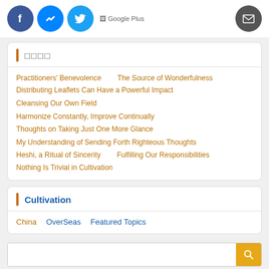[Figure (infographic): Social sharing icons: Facebook (blue circle), Messenger (blue circle), Twitter (blue circle), Google Plus (text with broken image), Email (gray circle with envelope icon)]
□□□□
Practitioners' Benevolence
The Source of Wonderfulness
Distributing Leaflets Can Have a Powerful Impact
Cleansing Our Own Field
Harmonize Constantly, Improve Continually
Thoughts on Taking Just One More Glance
My Understanding of Sending Forth Righteous Thoughts
Heshi, a Ritual of Sincerity
Fulfilling Our Responsibilities
Nothing Is Trivial in Cultivation
Cultivation
China
OverSeas
Featured Topics